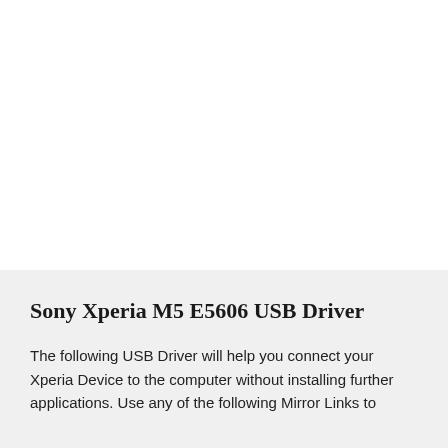Sony Xperia M5 E5606 USB Driver
The following USB Driver will help you connect your Xperia Device to the computer without installing further applications. Use any of the following Mirror Links to